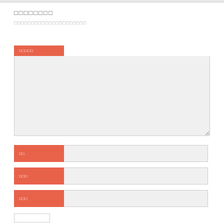□□□□□□□□
□□□□□□□□□□□□□□□□□□□□□
□□□□□
□□
□□□
□□□